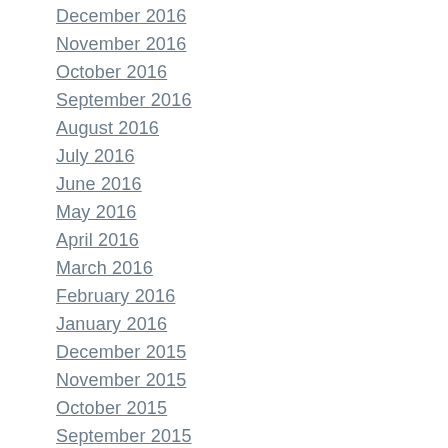December 2016
November 2016
October 2016
September 2016
August 2016
July 2016
June 2016
May 2016
April 2016
March 2016
February 2016
January 2016
December 2015
November 2015
October 2015
September 2015
August 2015
June 2015
May 2015